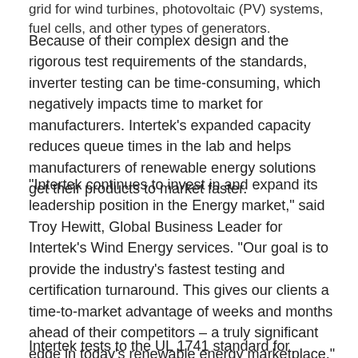grid for wind turbines, photovoltaic (PV) systems, fuel cells, and other types of generators.
Because of their complex design and the rigorous test requirements of the standards, inverter testing can be time-consuming, which negatively impacts time to market for manufacturers. Intertek’s expanded capacity reduces queue times in the lab and helps manufacturers of renewable energy solutions get their products to market faster.
“Intertek continues to invest in and expand its leadership position in the Energy market,” said Troy Hewitt, Global Business Leader for Intertek’s Wind Energy services. “Our goal is to provide the industry’s fastest testing and certification turnaround. This gives our clients a time-to-market advantage of weeks and months ahead of their competitors – a truly significant edge in today’s renewable energy marketplace.”
Intertek tests to the UL 1741 standard for “Inverters,